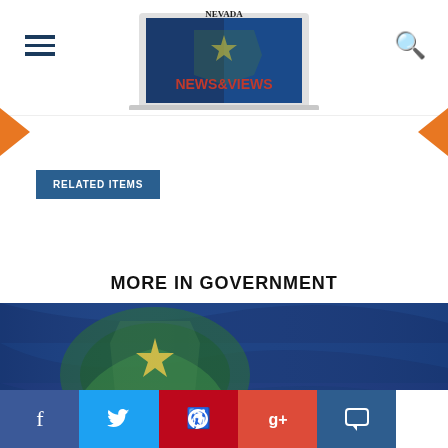[Figure (screenshot): Nevada News & Views website header with hamburger menu, logo showing laptop with Nevada flag, and search icon]
RELATED ITEMS
MORE IN GOVERNMENT
[Figure (photo): Nevada state flag waving, blue background with silver star and green sagebrush, 'NEVADA' text visible]
Pence: U.S. States Show How to Fight 'Woke' Wolves of Wall Street
[Figure (photo): Close-up of marshmallows and a wooden gavel/mallet on a surface]
[Figure (infographic): Social media share bar with Facebook, Twitter, Pinterest, Google+, and comment icons]